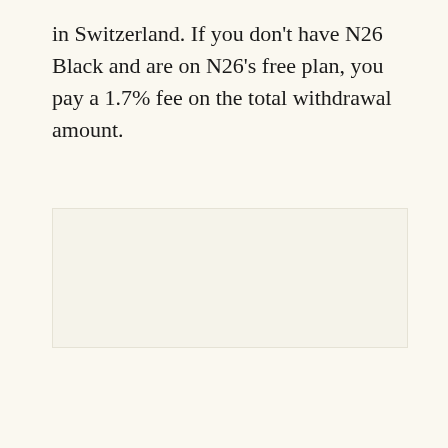in Switzerland. If you don't have N26 Black and are on N26's free plan, you pay a 1.7% fee on the total withdrawal amount.
[Figure (other): Empty content area placeholder with light background, likely an image or interactive element that did not load. Three small grey square dots visible near the bottom center of the area.]